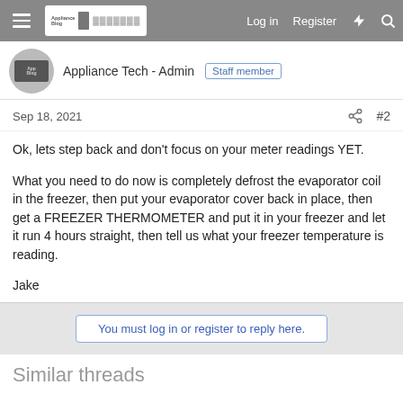Appliance Blog | Log in | Register
Appliance Tech - Admin  Staff member
Sep 18, 2021   #2
Ok, lets step back and don't focus on your meter readings YET.

What you need to do now is completely defrost the evaporator coil in the freezer, then put your evaporator cover back in place, then get a FREEZER THERMOMETER and put it in your freezer and let it run 4 hours straight, then tell us what your freezer temperature is reading.

Jake
You must log in or register to reply here.
Similar threads